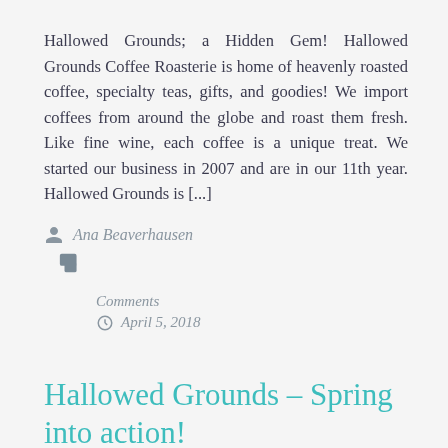Hallowed Grounds; a Hidden Gem! Hallowed Grounds Coffee Roasterie is home of heavenly roasted coffee, specialty teas, gifts, and goodies! We import coffees from around the globe and roast them fresh. Like fine wine, each coffee is a unique treat. We started our business in 2007 and are in our 11th year. Hallowed Grounds is [...]
Ana Beaverhausen
Comments
April 5, 2018
Hallowed Grounds – Spring into action!